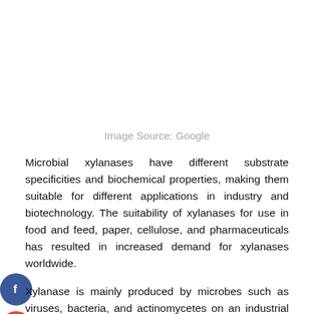Image Source: Google
Microbial xylanases have different substrate specificities and biochemical properties, making them suitable for different applications in industry and biotechnology. The suitability of xylanases for use in food and feed, paper, cellulose, and pharmaceuticals has resulted in increased demand for xylanases worldwide.
Xylanase is mainly produced by microbes such as viruses, bacteria, and actinomycetes on an industrial scale. The use of lignocellulosic biomass (LCB) to produce unique biochemicals such as bioethanol, enzymes and value-adding compounds has increased significantly over the past few decades.
This allowed scientists to investigate the hydrolytic potential of